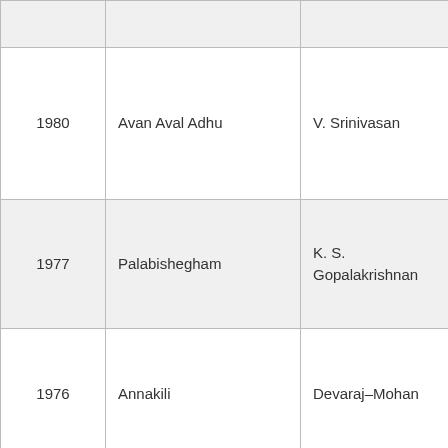| Year | Title | Director | Cast |
| --- | --- | --- | --- |
|  |  |  | Janagara... |
| 1980 | Avan Aval Adhu | V. Srinivasan | Sivakuma...
Lakshmi,
Sripriya,
Thengai
Srinivasan
Manoram... |
| 1977 | Palabishegham | K. S. Gopalakrishnan | Jaishanka...
Sripriya,
Sreekanth
Thengai
Srinivasan |
| 1976 | Annakili | Devaraj–Mohan | Sivakuma...
Sujatha,
Sreekanth
Fatafat
Jayalaxm... |